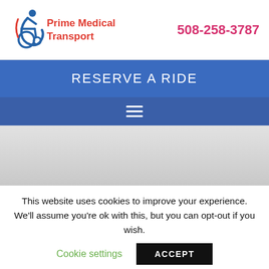Prime Medical Transport | 508-258-3787
RESERVE A RIDE
[Figure (other): Hamburger/navigation menu icon with three horizontal white lines on blue background]
[Figure (other): Light grey content area (blank/loading)]
This website uses cookies to improve your experience. We'll assume you're ok with this, but you can opt-out if you wish.
Cookie settings  ACCEPT